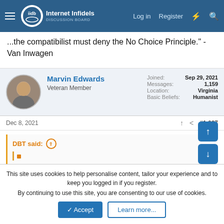Internet Infidels — Log in | Register
...the compatibilist must deny the No Choice Principle." - Van Inwagen
Marvin Edwards
Veteran Member
Joined: Sep 29, 2021
Messages: 1,159
Location: Virginia
Basic Beliefs: Humanist
Dec 8, 2021  #1,007
DBT said:
This site uses cookies to help personalise content, tailor your experience and to keep you logged in if you register.
By continuing to use this site, you are consenting to our use of cookies.